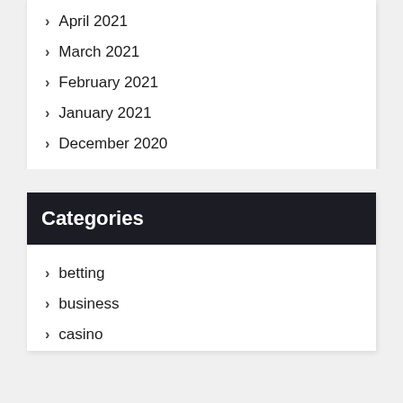April 2021
March 2021
February 2021
January 2021
December 2020
Categories
betting
business
casino